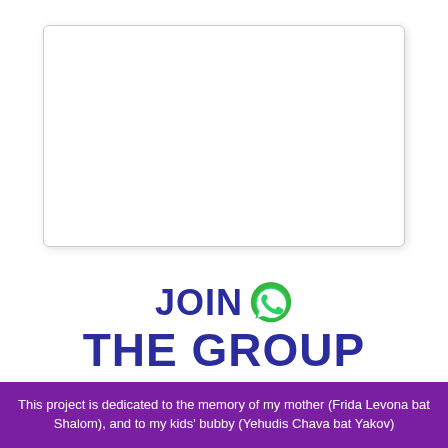[Figure (other): White card/box with border and shadow on white background]
JOIN THE GROUP
This project is dedicated to the memory of my mother (Frida Levona bat Shalom), and to my kids' bubby (Yehudis Chava bat Yakov)